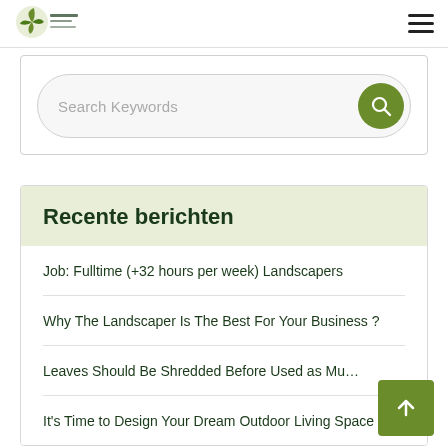[Figure (logo): Landscaping company logo with leaf/plant graphic and text]
[Figure (other): Hamburger menu icon (three horizontal lines)]
Search Keywords
Recente berichten
Job: Fulltime (+32 hours per week) Landscapers
Why The Landscaper Is The Best For Your Business ?
Leaves Should Be Shredded Before Used as Mu…
It's Time to Design Your Dream Outdoor Living Space